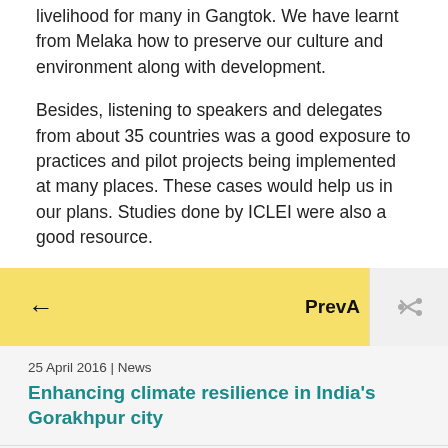livelihood for many in Gangtok. We have learnt from Melaka how to preserve our culture and environment along with development.
Besides, listening to speakers and delegates from about 35 countries was a good exposure to practices and pilot projects being implemented at many places. These cases would help us in our plans. Studies done by ICLEI were also a good resource.
← PrevA
25 April 2016 | News
Enhancing climate resilience in India's Gorakhpur city
18 May 2016 | News
Habitat III: ICLEI's response to Zero Draft of